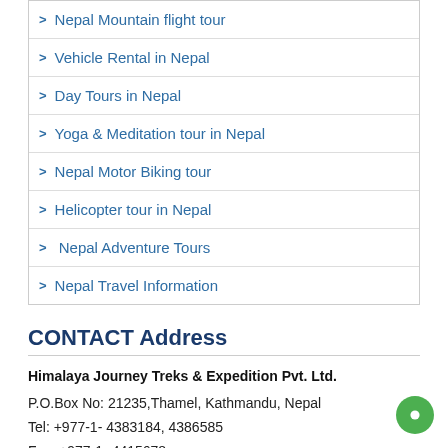Nepal Mountain flight tour
Vehicle Rental in Nepal
Day Tours in Nepal
Yoga & Meditation tour in Nepal
Nepal Motor Biking tour
Helicopter tour in Nepal
Nepal Adventure Tours
Nepal Travel Information
CONTACT Address
Himalaya Journey Treks & Expedition Pvt. Ltd.
P.O.Box No: 21235,Thamel, Kathmandu, Nepal
Tel: +977-1- 4383184, 4386585
Fax: +977-1- 4415678